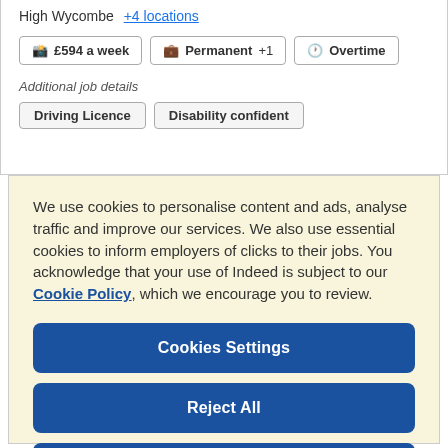High Wycombe +4 locations
£594 a week  Permanent +1  Overtime
Additional job details
Driving Licence  Disability confident
We use cookies to personalise content and ads, analyse traffic and improve our services. We also use essential cookies to inform employers of clicks to their jobs. You acknowledge that your use of Indeed is subject to our Cookie Policy, which we encourage you to review.
Cookies Settings
Reject All
Accept All Cookies